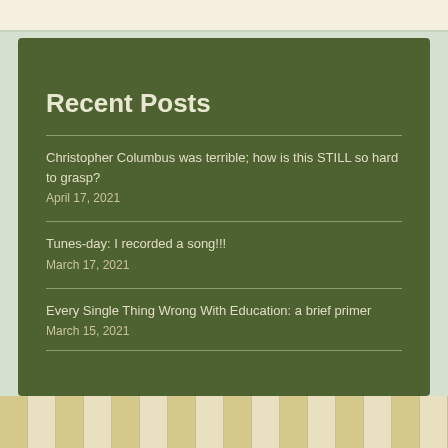Recent Posts
Christopher Columbus was terrible; how is this STILL so hard to grasp?
April 17, 2021
Tunes-day: I recorded a song!!!
March 17, 2021
Every Single Thing Wrong With Education: a brief primer
March 15, 2021